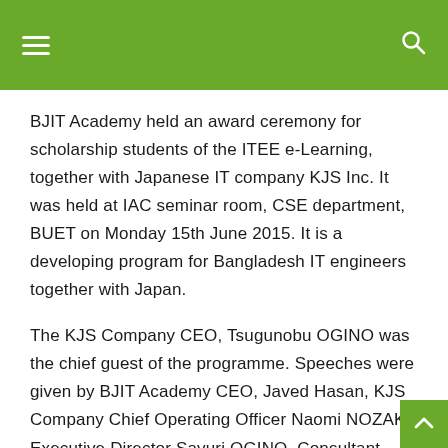BJIT Academy held an award ceremony for scholarship students of the ITEE e-Learning, together with Japanese IT company KJS Inc. It was held at IAC seminar room, CSE department, BUET on Monday 15th June 2015. It is a developing program for Bangladesh IT engineers together with Japan.
The KJS Company CEO, Tsugunobu OGINO was the chief guest of the programme. Speeches were given by BJIT Academy CEO, Javed Hasan, KJS Company Chief Operating Officer Naomi NOZAKI, Executive Director Sayuri OGINO, Consultant